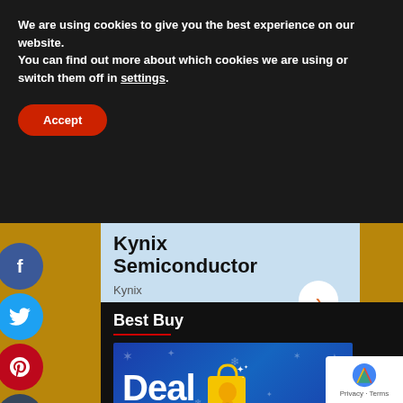We are using cookies to give you the best experience on our website.
You can find out more about which cookies we are using or switch them off in settings.
Accept
[Figure (infographic): Kynix Semiconductor advertisement block with light blue background, bold text 'Kynix Semiconductor' and orange arrow button, sub-label 'Kynix']
Best Buy
[Figure (infographic): Best Buy 'Deal' promotional banner with blue background, holiday snowflake pattern, large white 'Deal' text and yellow shopping bag icon with bell]
[Figure (infographic): reCAPTCHA badge showing Google reCAPTCHA logo with Privacy and Terms links]